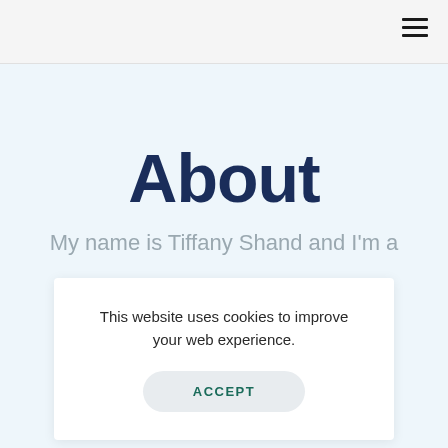≡
About
My name is Tiffany Shand and I'm a
This website uses cookies to improve your web experience.
ACCEPT